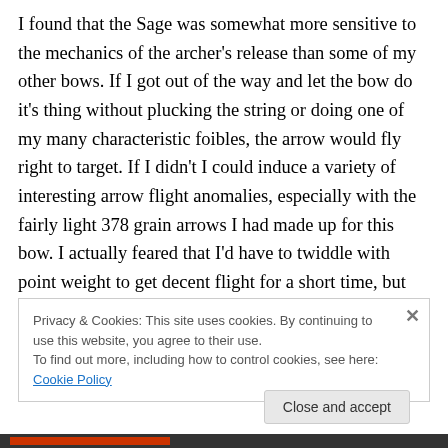I found that the Sage was somewhat more sensitive to the mechanics of the archer's release than some of my other bows. If I got out of the way and let the bow do it's thing without plucking the string or doing one of my many characteristic foibles, the arrow would fly right to target. If I didn't I could induce a variety of interesting arrow flight anomalies, especially with the fairly light 378 grain arrows I had made up for this bow. I actually feared that I'd have to twiddle with point weight to get decent flight for a short time, but soon realized that all the gyrations were the fault of the bonehead behind the bow.
Privacy & Cookies: This site uses cookies. By continuing to use this website, you agree to their use.
To find out more, including how to control cookies, see here: Cookie Policy
Close and accept